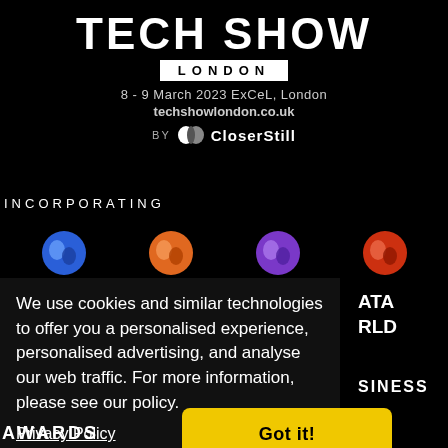TECH SHOW LONDON
8 - 9 March 2023 ExCeL, London
techshowlondon.co.uk
BY CloserStill
INCORPORATING
[Figure (logo): Four colored circular logo icons for sub-events]
We use cookies and similar technologies to offer you a personalised experience, personalised advertising, and analyse our web traffic. For more information, please see our policy.
Privacy Policy
ATA ORLD
SINESS
Got it!
AWARDS